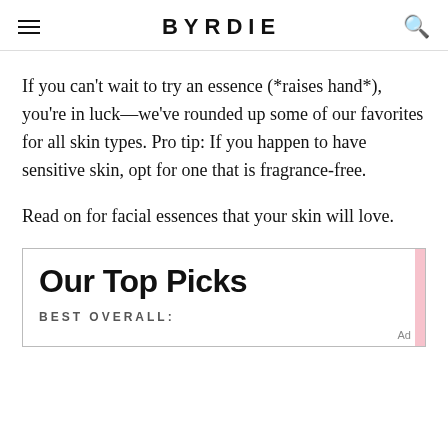BYRDIE
If you can't wait to try an essence (*raises hand*), you're in luck—we've rounded up some of our favorites for all skin types. Pro tip: If you happen to have sensitive skin, opt for one that is fragrance-free.
Read on for facial essences that your skin will love.
Our Top Picks
BEST OVERALL: